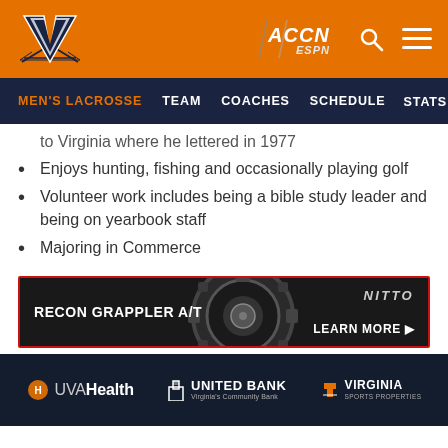[Figure (logo): University of Virginia orange header bar with UVA logo (V with crossed swords), ACCN ESPN logo, search icon, and hamburger menu]
MEN'S LACROSSE  TEAM  COACHES  SCHEDULE  STATS  NE
to Virginia where he lettered in 1977
Enjoys hunting, fishing and occasionally playing golf
Volunteer work includes being a bible study leader and being on yearbook staff
Majoring in Commerce
[Figure (infographic): Nitto Recon Grappler A/T tire advertisement banner with dark background, red border, tire image, and LEARN MORE button]
UVA Health  UNITED BANK Virginia's Community Bank  VIRGINIA SPORTS PROPERTIES